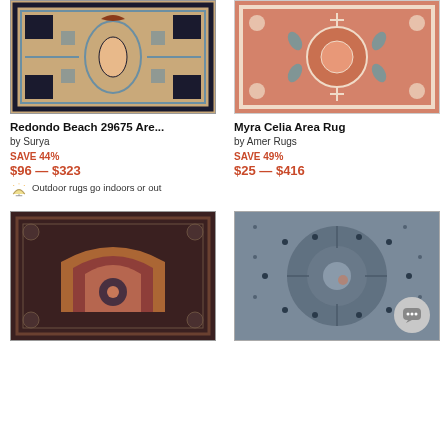[Figure (photo): Redondo Beach area rug with geometric tribal pattern in beige, teal, and dark navy]
[Figure (photo): Myra Celia area rug with floral medallion pattern in terracotta/salmon and cream]
Redondo Beach 29675 Are...
by Surya
SAVE 44%
$96 — $323
Outdoor rugs go indoors or out
Myra Celia Area Rug
by Amer Rugs
SAVE 49%
$25 — $416
[Figure (photo): Vintage-style area rug with prayer arch motif in deep red, navy, and terracotta]
[Figure (photo): Modern geometric area rug in grey and blue with dot/star pattern]